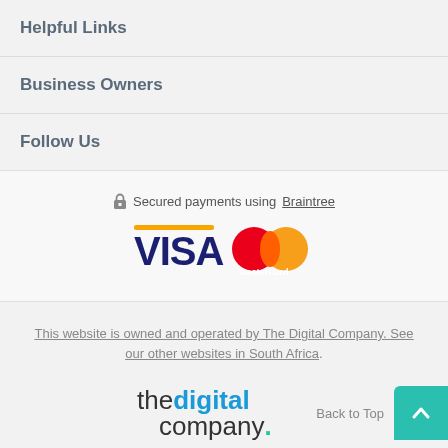Helpful Links
Business Owners
Follow Us
[Figure (infographic): Lock icon followed by text 'Secured payments using Braintree' (Braintree underlined), and Visa and MasterCard logos below]
This website is owned and operated by The Digital Company. See our other websites in South Africa.
[Figure (logo): The Digital Company logo — 'thedigital' in dark grey and 'company.' with a teal dot]
Back to Top